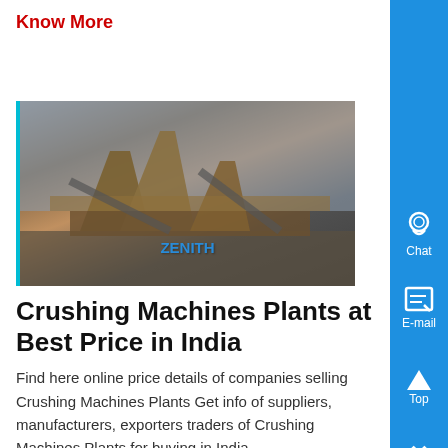Know More
[Figure (photo): Crushing machines plant equipment at an outdoor industrial site, showing conveyors and machinery under a cloudy sky. Watermark text visible.]
Crushing Machines Plants at Best Price in India
Find here online price details of companies selling Crushing Machines Plants Get info of suppliers, manufacturers, exporters traders of Crushing Machines Plants for buying in India...
Know More
[Figure (photo): Interior of an industrial plant or warehouse, partially visible at bottom of page.]